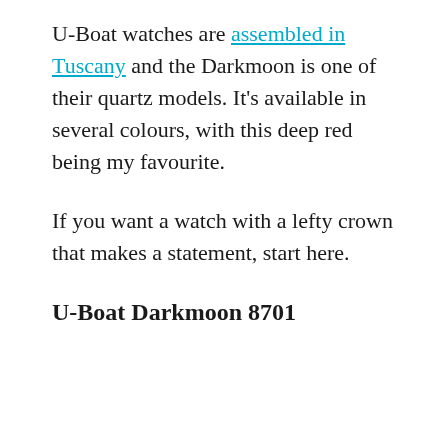U-Boat watches are assembled in Tuscany and the Darkmoon is one of their quartz models. It's available in several colours, with this deep red being my favourite.
If you want a watch with a lefty crown that makes a statement, start here.
U-Boat Darkmoon 8701